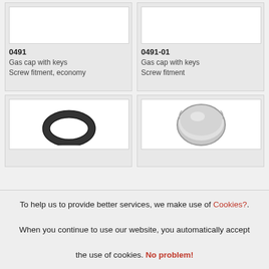[Figure (photo): Product image box for item 0491 - empty white box]
0491
Gas cap with keys
Screw fitment, economy
[Figure (photo): Product image box for item 0491-01 - empty white box]
0491-01
Gas cap with keys
Screw fitment
[Figure (photo): Product image showing a black rubber O-ring/seal]
[Figure (photo): Product image showing a silver metallic gas cap]
To help us to provide better services, we make use of Cookies?.
When you continue to use our website, you automatically accept the use of cookies. No problem!